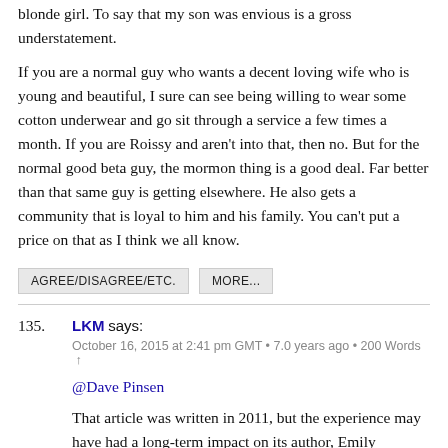blonde girl. To say that my son was envious is a gross understatement.
If you are a normal guy who wants a decent loving wife who is young and beautiful, I sure can see being willing to wear some cotton underwear and go sit through a service a few times a month. If you are Roissy and aren't into that, then no. But for the normal good beta guy, the mormon thing is a good deal. Far better than that same guy is getting elsewhere. He also gets a community that is loyal to him and his family. You can't put a price on that as I think we all know.
AGREE/DISAGREE/ETC.  MORE...
135. LKM says: October 16, 2015 at 2:41 pm GMT • 7.0 years ago • 200 Words ↑
@Dave Pinsen
That article was written in 2011, but the experience may have had a long-term impact on its author, Emily Matchar who recently authored this book: